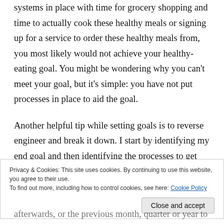systems in place with time for grocery shopping and time to actually cook these healthy meals or signing up for a service to order these healthy meals from, you most likely would not achieve your healthy-eating goal. You might be wondering why you can't meet your goal, but it's simple: you have not put processes in place to aid the goal.
Another helpful tip while setting goals is to reverse engineer and break it down. I start by identifying my end goal and then identifying the processes to get there. Then, I break these down and set them as
Privacy & Cookies: This site uses cookies. By continuing to use this website, you agree to their use.
To find out more, including how to control cookies, see here: Cookie Policy
afterwards, or the previous month, quarter or year to